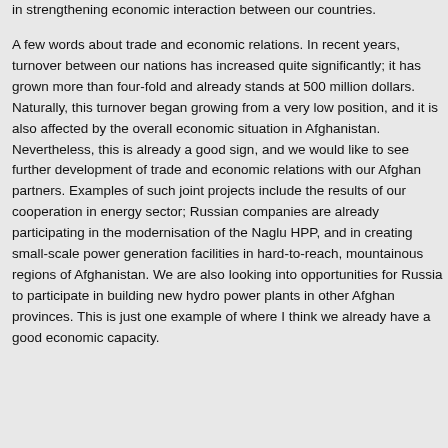in strengthening economic interaction between our countries.

A few words about trade and economic relations. In recent years, turnover between our nations has increased quite significantly; it has grown more than four-fold and already stands at 500 million dollars. Naturally, this turnover began growing from a very low position, and it is also affected by the overall economic situation in Afghanistan. Nevertheless, this is already a good sign, and we would like to see further development of trade and economic relations with our Afghan partners. Examples of such joint projects include the results of our cooperation in energy sector; Russian companies are already participating in the modernisation of the Naglu HPP, and in creating small-scale power generation facilities in hard-to-reach, mountainous regions of Afghanistan. We are also looking into opportunities for Russia to participate in building new hydro power plants in other Afghan provinces. This is just one example of where I think we already have a good economic capacity.